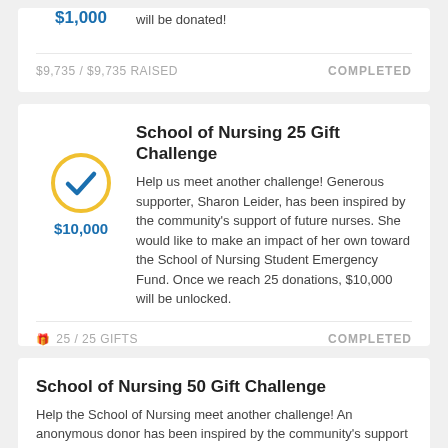$1,000
will be donated!
$9,735 / $9,735 RAISED
COMPLETED
School of Nursing 25 Gift Challenge
Help us meet another challenge! Generous supporter, Sharon Leider, has been inspired by the community's support of future nurses. She would like to make an impact of her own toward the School of Nursing Student Emergency Fund. Once we reach 25 donations, $10,000 will be unlocked.
25 / 25 GIFTS
COMPLETED
School of Nursing 50 Gift Challenge
Help the School of Nursing meet another challenge! An anonymous donor has been inspired by the community's support of future